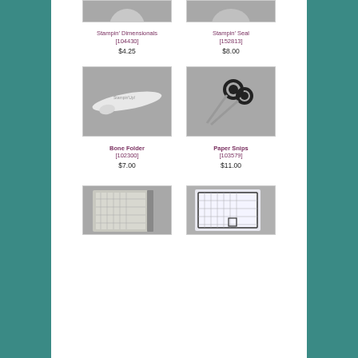[Figure (photo): Photo of Stampin' Dimensionals product on gray background (partial, top cropped)]
[Figure (photo): Photo of Stampin' Seal product on gray background (partial, top cropped)]
Stampin' Dimensionals [104430] $4.25
Stampin' Seal [152813] $8.00
[Figure (photo): Photo of Bone Folder tool on gray background]
[Figure (photo): Photo of Paper Snips scissors on gray background]
Bone Folder [102300] $7.00
Paper Snips [103579] $11.00
[Figure (photo): Photo of paper trimmer/cutter product (partial, bottom cropped)]
[Figure (photo): Photo of stamping/cutting mat product (partial, bottom cropped)]